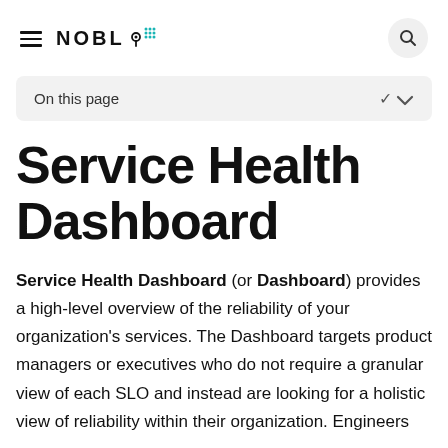NOBL (logo with dots)
On this page
Service Health Dashboard
Service Health Dashboard (or Dashboard) provides a high-level overview of the reliability of your organization's services. The Dashboard targets product managers or executives who do not require a granular view of each SLO and instead are looking for a holistic view of reliability within their organization. Engineers